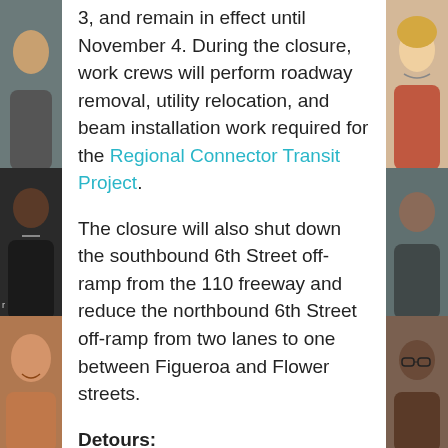[Figure (photo): Left side column of portrait photos of various people, partially cropped, stacked vertically]
3, and remain in effect until November 4. During the closure, work crews will perform roadway removal, utility relocation, and beam installation work required for the Regional Connector Transit Project.
The closure will also shut down the southbound 6th Street off-ramp from the 110 freeway and reduce the northbound 6th Street off-ramp from two lanes to one between Figueroa and Flower streets.
Detours:
Southbound freeway traffic will detour via 4th Street off-ramp to
[Figure (photo): Right side column of portrait photos of various people, partially cropped, stacked vertically]